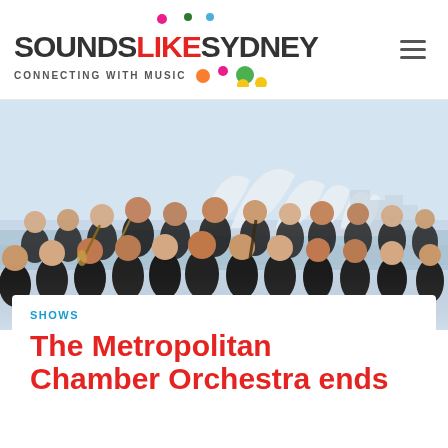[Figure (logo): Sounds Like Sydney logo with coloured dots and tagline CONNECTING WITH MUSIC]
[Figure (photo): Group photo of Metropolitan Chamber Orchestra musicians in black attire outdoors with Sydney Opera House in background]
SHOWS
The Metropolitan Chamber Orchestra ends